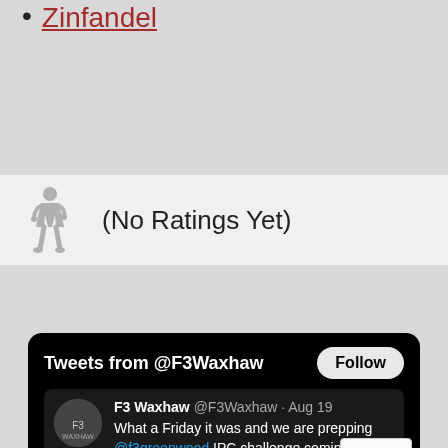Zinfandel
[Figure (illustration): Small gray figure of a person standing with hands on hips]
(No Ratings Yet)
[Figure (screenshot): Twitter/X widget showing Tweets from @F3Waxhaw with Follow button and a tweet from F3 Waxhaw @F3Waxhaw Aug 19: What a Friday it was and we are prepping @f3greenwood IPC challenge coming up next]